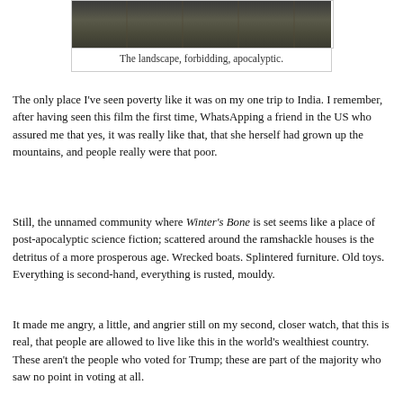[Figure (photo): Dark, muted landscape photograph appearing forbidding and apocalyptic.]
The landscape, forbidding, apocalyptic.
The only place I've seen poverty like it was on my one trip to India. I remember, after having seen this film the first time, WhatsApping a friend in the US who assured me that yes, it was really like that, that she herself had grown up the mountains, and people really were that poor.
Still, the unnamed community where Winter's Bone is set seems like a place of post-apocalyptic science fiction; scattered around the ramshackle houses is the detritus of a more prosperous age. Wrecked boats. Splintered furniture. Old toys. Everything is second-hand, everything is rusted, mouldy.
It made me angry, a little, and angrier still on my second, closer watch, that this is real, that people are allowed to live like this in the world's wealthiest country. These aren't the people who voted for Trump; these are part of the majority who saw no point in voting at all.